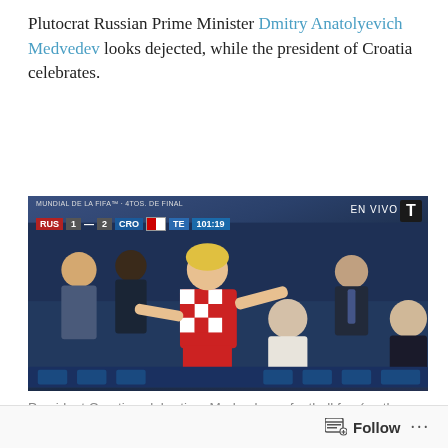Plutocrat Russian Prime Minister Dmitry Anatolyevich Medvedev looks dejected, while the president of Croatia celebrates.
[Figure (screenshot): TV broadcast screenshot showing scoreboard: MUNDIAL DE LA FIFA - 4TOS. DE FINAL, RUS 1-2 CRO, TE 101:19, EN VIVO, Telemundo logo. Scene shows several people in stadium VIP box - a woman in red and white checkered jersey celebrating energetically, a bald man seated looking up, and a dejected man on lower right (Medvedev).]
President Croatia celebrating. Medvedev, a football fan (on the lower right) is experiencing pain.